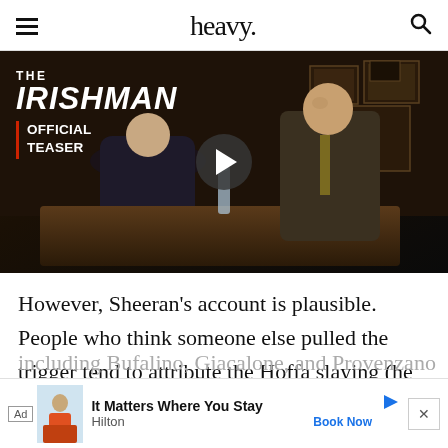heavy.
[Figure (screenshot): Video thumbnail for The Irishman Official Teaser trailer, showing two men in suits sitting at a table in a dimly lit room with framed photos on the wall. Text overlays: 'THE IRISHMAN' and 'OFFICIAL TEASER'. A play button is centered on the image.]
However, Sheeran's account is plausible. People who think someone else pulled the trigger tend to attribute the Hoffa slaying (he was declared dead legally, although his body was never found) to a small [ad] ters, including Bufalino, Giacalone, and Provenzano